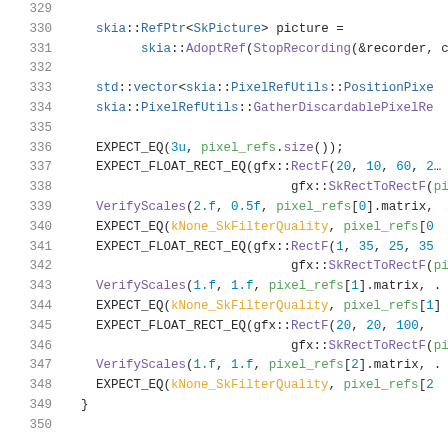[Figure (screenshot): Source code listing showing C++ test code with line numbers 329-350. Code involves skia::RefPtr, SkPicture, PixelRefUtils, EXPECT_EQ, EXPECT_FLOAT_RECT_EQ, VerifyScales macros and functions.]